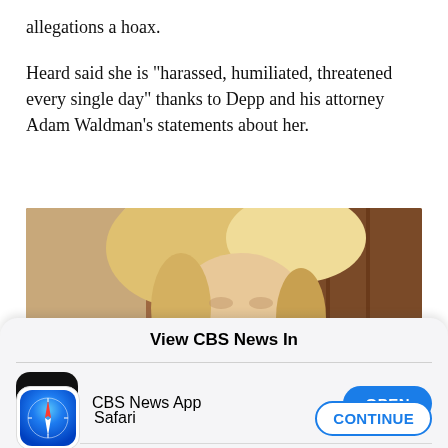allegations a hoax.
Heard said she is "harassed, humiliated, threatened every single day" thanks to Depp and his attorney Adam Waldman's statements about her.
[Figure (photo): Photo of a blonde woman (Amber Heard) at what appears to be a courtroom or formal setting, with wood-paneled background.]
View CBS News In
[Figure (logo): CBS News app icon — black rounded square with CBS eye logo and 'CBS NEWS' text]
CBS News App
OPEN
[Figure (logo): Safari browser icon — compass rose on blue gradient background]
Safari
CONTINUE